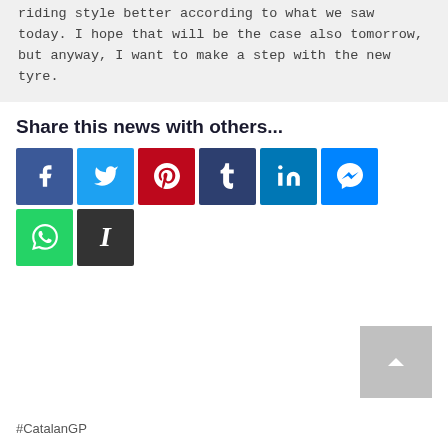riding style better according to what we saw today. I hope that will be the case also tomorrow, but anyway, I want to make a step with the new tyre.
Share this news with others...
[Figure (other): Social share buttons: Facebook, Twitter, Pinterest, Tumblr, LinkedIn, Messenger, WhatsApp, Instapaper]
[Figure (other): Scroll to top button with upward chevron arrow]
#CatalanGP